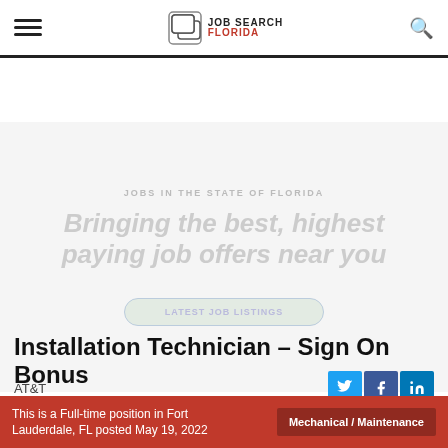Job Search Florida
[Figure (infographic): Banner with text: JOBS IN THE STATE OF FLORIDA / Bringing the best, highest paying job offers near you / button: LATEST JOB LISTINGS]
Installation Technician – Sign On Bonus
AT&T
This is a Full-time position in Fort Lauderdale, FL posted May 19, 2022
Mechanical / Maintenance